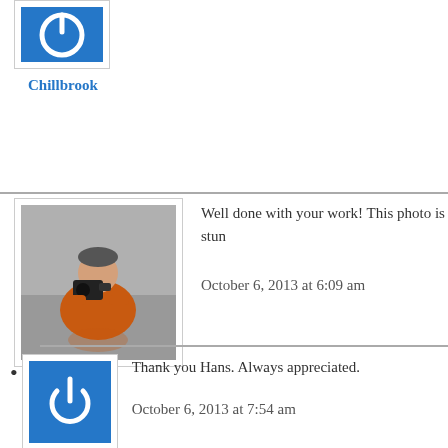[Figure (illustration): Blue square logo/icon with white power button symbol — avatar for Chillbrook (top, partially visible)]
Chillbrook
[Figure (photo): Black and white photo of a person in an orange jacket holding a camera, partially in water]
Well done with your work! This photo is stun
October 6, 2013 at 6:09 am
HansHB
[Figure (illustration): Blue square logo/icon with white power button symbol — avatar for Chillbrook (reply)]
Thank you Hans. Always appreciated.
October 6, 2013 at 7:54 am
Chillbrook